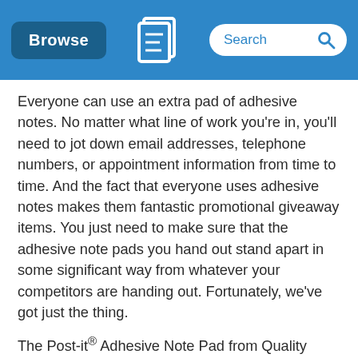Browse | [Quality Logo Products logo] | Search
Everyone can use an extra pad of adhesive notes. No matter what line of work you're in, you'll need to jot down email addresses, telephone numbers, or appointment information from time to time. And the fact that everyone uses adhesive notes makes them fantastic promotional giveaway items. You just need to make sure that the adhesive note pads you hand out stand apart in some significant way from whatever your competitors are handing out. Fortunately, we've got just the thing.
The Post-it® Adhesive Note Pad from Quality Logo Products® features:
25 sheets of 4"x2.875" paper
an adhesive backing on each sheet